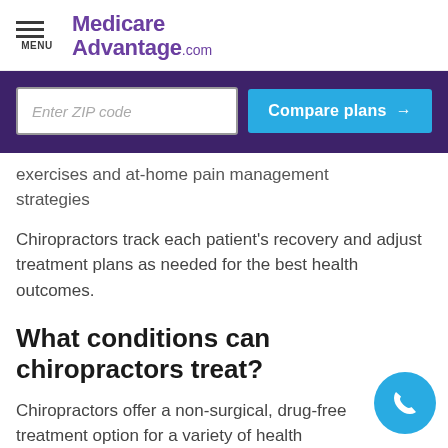MENU | MedicareAdvantage.com
Enter ZIP code
Compare plans →
exercises and at-home pain management strategies
Chiropractors track each patient's recovery and adjust treatment plans as needed for the best health outcomes.
What conditions can chiropractors treat?
Chiropractors offer a non-surgical, drug-free treatment option for a variety of health